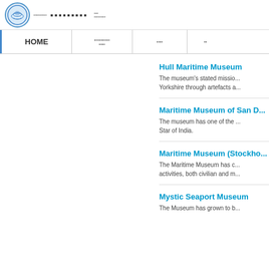HOME | [nav items with CJK characters]
Hull Maritime Museum
The museum's stated mission is to tell the story of Yorkshire through artefacts a...
Maritime Museum of San D...
The museum has one of the ... Star of India.
Maritime Museum (Stockho...
The Maritime Museum has c... activities, both civilian and m...
Mystic Seaport Museum
The Museum has grown to b...